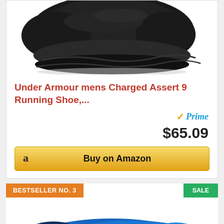[Figure (photo): Black Under Armour running shoe viewed from above/side, cropped at top]
Under Armour mens Charged Assert 9 Running Shoe,...
Prime
$65.09
Buy on Amazon
BESTSELLER NO. 3
SALE
[Figure (photo): WALKHERO shoe insole, blue and black, viewed from above]